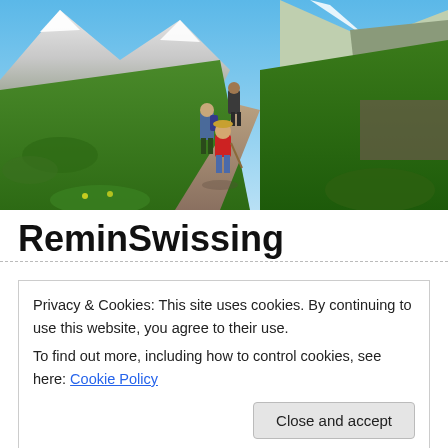[Figure (photo): Mountain hiking trail with two adults and a child in red shirt walking along a narrow path on a steep green alpine slope, with snow-capped mountains in the background under a blue sky.]
ReminSwissing
to take a time out from our regular life. It had its
Privacy & Cookies: This site uses cookies. By continuing to use this website, you agree to their use.
To find out more, including how to control cookies, see here: Cookie Policy
[Close and accept]